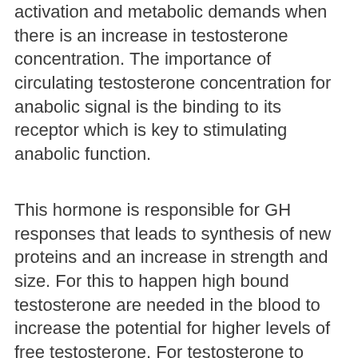activation and metabolic demands when there is an increase in testosterone concentration. The importance of circulating testosterone concentration for anabolic signal is the binding to its receptor which is key to stimulating anabolic function.
This hormone is responsible for GH responses that leads to synthesis of new proteins and an increase in strength and size. For this to happen high bound testosterone are needed in the blood to increase the potential for higher levels of free testosterone. For testosterone to interact with target tissues there must be free